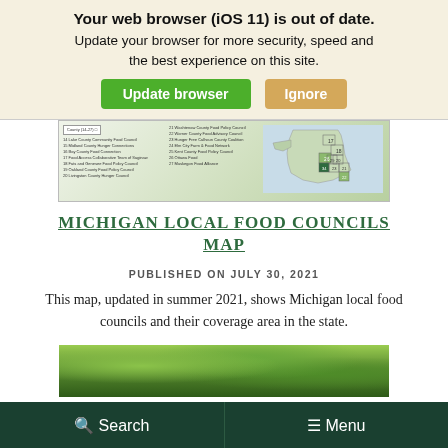Your web browser (iOS 11) is out of date. Update your browser for more security, speed and the best experience on this site. [Update browser] [Ignore]
[Figure (map): Michigan Local Food Councils map showing county coverage areas with colored regions and a legend listing councils numbered 14-27]
MICHIGAN LOCAL FOOD COUNCILS MAP
PUBLISHED ON JULY 30, 2021
This map, updated in summer 2021, shows Michigan local food councils and their coverage area in the state.
[Figure (photo): Green tree canopy photo strip]
Search   Menu